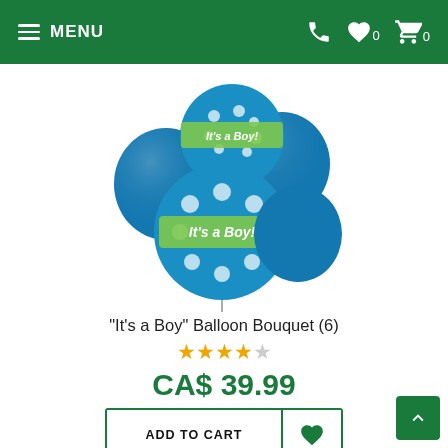MENU | phone | wishlist 0 | cart 0
[Figure (photo): A bouquet of blue foil balloons with white polka dots and a green band reading 'It's a Boy!' arranged in a cluster on a white background.]
"It's a Boy" Balloon Bouquet (6)
★★★★☆ (4 out of 5 stars)
CA$ 39.99
ADD TO CART